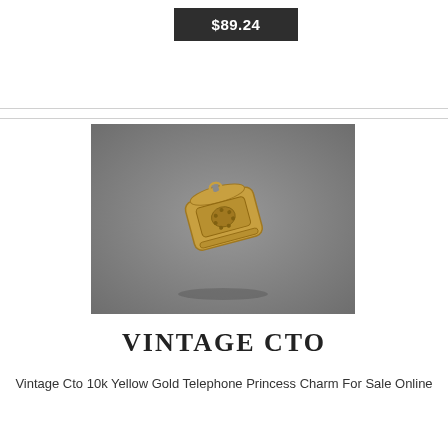$89.24
[Figure (photo): A vintage gold telephone charm (10k yellow gold, Princess style) photographed against a gray background. The charm depicts a classic rotary-style desk telephone.]
VINTAGE CTO
Vintage Cto 10k Yellow Gold Telephone Princess Charm For Sale Online